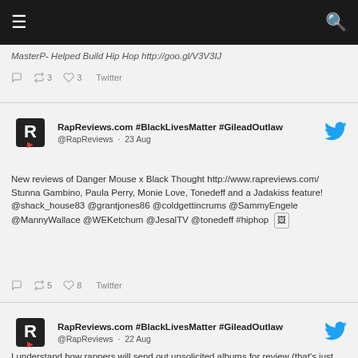☰  🔍
MasterP- Helped Build Hip Hop http://goo.gl/V3V3IJ
↩3  ♡3  Twitter
RapReviews.com #BlackLivesMatter #GileadOutlaw @RapReviews · 23 Aug
New reviews of Danger Mouse x Black Thought http://www.rapreviews.com/ Stunna Gambino, Paula Perry, Monie Love, Tonedeff and a Jadakiss feature! @shack_house83 @grantjones86 @coldgettincrums @SammyEngele @MannyWallace @WEKetchum @JesalTV @tonedeff #hiphop 🖼
↩5  ♡8  Twitter
RapReviews.com #BlackLivesMatter #GileadOutlaw @RapReviews · 22 Aug
I understand how rappers will send out unsolicited albums for review (that's just the hustle) but what do they